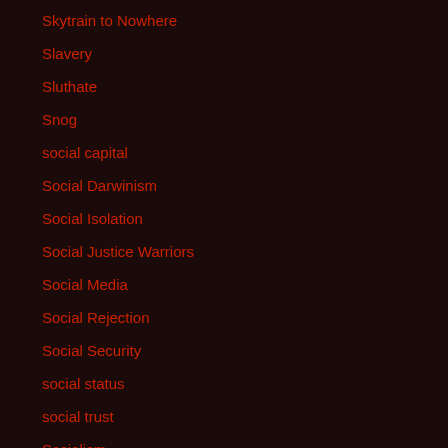Skytrain to Nowhere
Slavery
Sluthate
Snog
social capital
Social Darwinism
Social Isolation
Social Justice Warriors
Social Media
Social Rejection
Social Security
social status
social trust
Socialism
Sociopaths